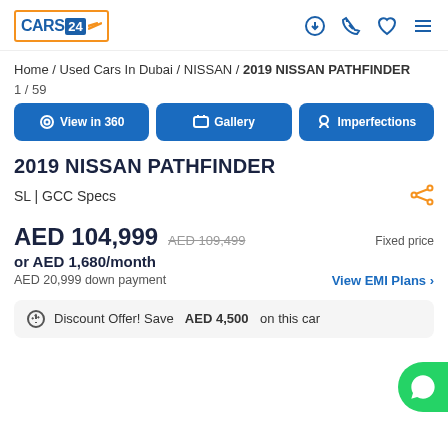CARS24 logo and navigation icons
Home / Used Cars In Dubai / NISSAN / 2019 NISSAN PATHFINDER
1 / 59
View in 360 | Gallery | Imperfections
2019 NISSAN PATHFINDER
SL | GCC Specs
AED 104,999  AED 109,499  Fixed price
or AED 1,680/month
AED 20,999 down payment  View EMI Plans >
Discount Offer! Save AED 4,500 on this car